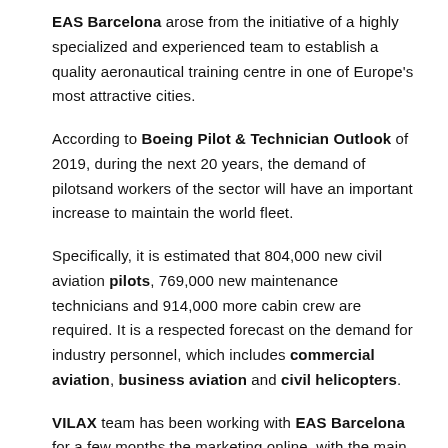EAS Barcelona arose from the initiative of a highly specialized and experienced team to establish a quality aeronautical training centre in one of Europe's most attractive cities.
According to Boeing Pilot & Technician Outlook of 2019, during the next 20 years, the demand of pilotsand workers of the sector will have an important increase to maintain the world fleet.
Specifically, it is estimated that 804,000 new civil aviation pilots, 769,000 new maintenance technicians and 914,000 more cabin crew are required. It is a respected forecast on the demand for industry personnel, which includes commercial aviation, business aviation and civil helicopters.
VILAX team has been working with EAS Barcelona for a few months the marketing online, with the main